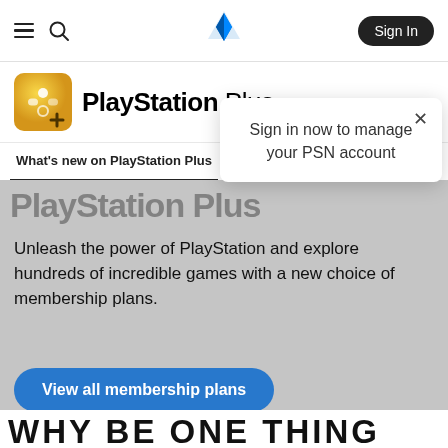[Figure (screenshot): PlayStation website navigation bar with hamburger menu, search icon, PlayStation logo in center, and Sign In button on right]
[Figure (logo): PlayStation Plus logo with gold PS+ icon and PlayStation Plus text]
[Figure (infographic): Popup tooltip: Sign in now to manage your PSN account, with X close button]
What's new on PlayStation Plus   All games A-Z   Getting
PlayStation Plus
Unleash the power of PlayStation and explore hundreds of incredible games with a new choice of membership plans.
View all membership plans
WHY BE ONE THING